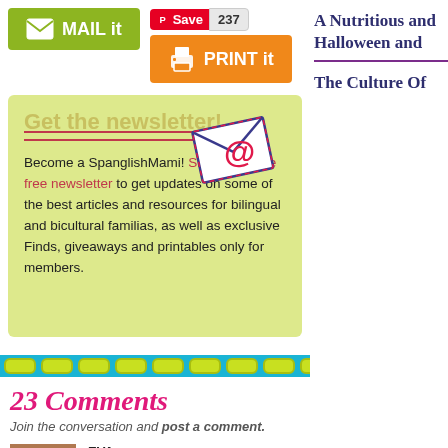[Figure (screenshot): MAIL it green button with envelope icon]
[Figure (screenshot): Pinterest Save button with count 237 and PRINT it orange button with printer icon]
[Figure (illustration): Newsletter signup box with envelope @ illustration, title Get the newsletter!, and text about becoming a SpanglishMami]
[Figure (infographic): Decorative teal border with yellow-green pill shapes]
23 Comments
Join the conversation and post a comment.
EVA
October 24, 2013 at 4:38 pm
Thank you for this great recipe! The manjar definitely tak
A Nutritious and Halloween and
The Culture Of